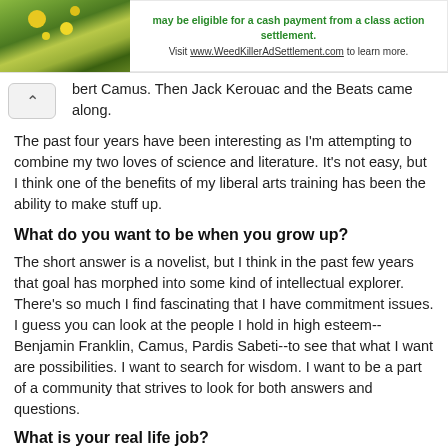[Figure (photo): Advertisement banner with flower/plant photo on left and green text about class action settlement on right]
bert Camus. Then Jack Kerouac and the Beats came along.
The past four years have been interesting as I'm attempting to combine my two loves of science and literature. It's not easy, but I think one of the benefits of my liberal arts training has been the ability to make stuff up.
What do you want to be when you grow up?
The short answer is a novelist, but I think in the past few years that goal has morphed into some kind of intellectual explorer. There's so much I find fascinating that I have commitment issues. I guess you can look at the people I hold in high esteem--Benjamin Franklin, Camus, Pardis Sabeti--to see that what I want are possibilities. I want to search for wisdom. I want to be a part of a community that strives to look for both answers and questions.
What is your real life job?
I'm the communications officer for the Burroughs Wellcome Fund, a private biomedical research foundation in North